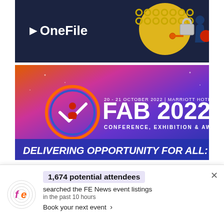[Figure (advertisement): OneFile advertisement banner with dark navy background, white OneFile logo on left, and decorative chain/lock graphic on right side]
[Figure (advertisement): FAB 2022 Conference, Exhibition & Awards banner. 20-21 October 2022, Marriott Hotel, Leicester. Gradient purple/blue/orange background. Circular logo. Text: DELIVERING OPPORTUNITY FOR ALL:]
We use cookies on our website to give you the most relevant experience by remembering your preferences and repeat visits. By clicking “Accept”, you consent to
[Figure (infographic): FE News notification popup: 1,674 potential attendees searched the FE News event listings in the past 10 hours. Book your next event > FE logo on left.]